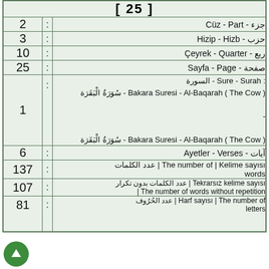| Number | : | Label |
| --- | --- | --- |
| [ 25 ] |  |  |
| 2 | : | جزء - Cüz - Part |
| 3 | : | حزب - Hizip - Hizb |
| 10 | : | ربع - Çeyrek - Quarter |
| 25 | : | صفحة - Sayfa - Page |
| 1 | : | السورة - Sure - Surah :
سُوَرَةُ الْبَقَرَة - Bakara Suresi - Al-Baqarah ( The Cow )
-
سُوَرَةُ الْبَقَرَة - Bakara Suresi - Al-Baqarah ( The Cow ) |
| 6 | : | آيات - Ayetler - Verses |
| 137 | : | عدد الكلمات | The number of | Kelime sayısı words |
| 107 | : | عدد الكلمات بدون تكرار | Tekrarsız kelime sayısı | The number of words without repetition |
| 81 | : | عدد الحُرُوف | Harf sayısı | The number of letters |